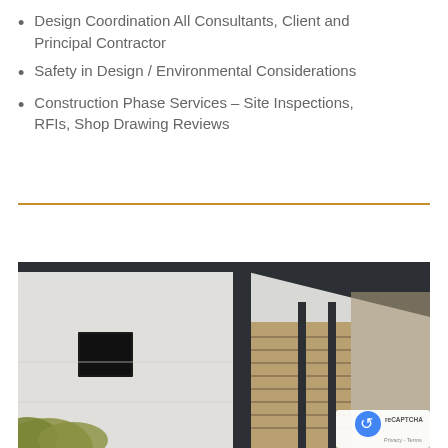Design Coordination All Consultants, Client and Principal Contractor
Safety in Design / Environmental Considerations
Construction Phase Services – Site Inspections, RFIs, Shop Drawing Reviews
[Figure (photo): Upward-angle photograph of a modern commercial building exterior with white and cream cladding, metal louvred screens, a small dark window, palm fronds at bottom-left, and a blue sky with clouds in the background.]